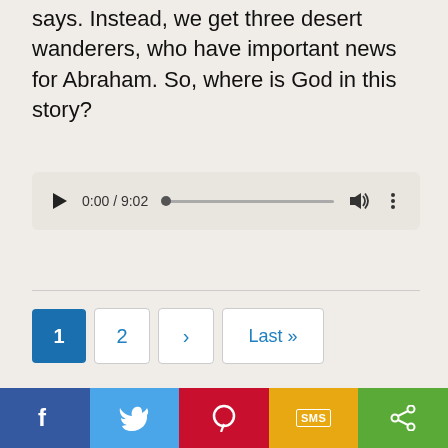says. Instead, we get three desert wanderers, who have important news for Abraham. So, where is God in this story?
[Figure (other): Audio player widget showing 0:00 / 9:02 with play button, progress bar, volume icon, and options menu]
[Figure (other): Pagination controls: page 1 (active/selected, blue), page 2, next arrow, Last »]
[Figure (other): Partial site footer box showing 'Site' text]
[Figure (other): Social share bar with Facebook, Twitter, Pinterest, SMS, and Share buttons]